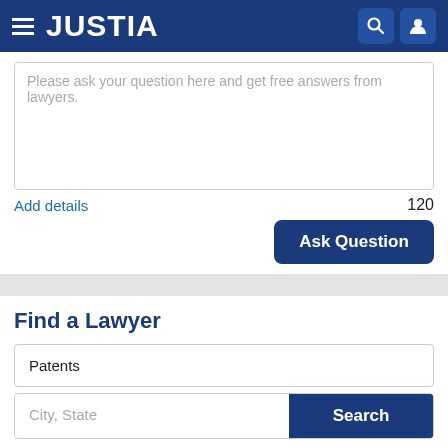JUSTIA
Please ask your question here and get free answers from lawyers.
Add details
120
Ask Question
Find a Lawyer
Patents
City, State
Search
Lawyers - Get Listed Now!